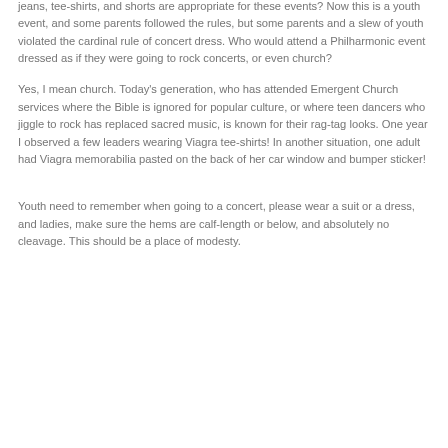jeans, tee-shirts, and shorts are appropriate for these events? Now this is a youth event, and some parents followed the rules, but some parents and a slew of youth violated the cardinal rule of concert dress. Who would attend a Philharmonic event dressed as if they were going to rock concerts, or even church?
Yes, I mean church. Today's generation, who has attended Emergent Church services where the Bible is ignored for popular culture, or where teen dancers who jiggle to rock has replaced sacred music, is known for their rag-tag looks. One year I observed a few leaders wearing Viagra tee-shirts! In another situation, one adult had Viagra memorabilia pasted on the back of her car window and bumper sticker!
Youth need to remember when going to a concert, please wear a suit or a dress, and ladies, make sure the hems are calf-length or below, and absolutely no cleavage. This should be a place of modesty.